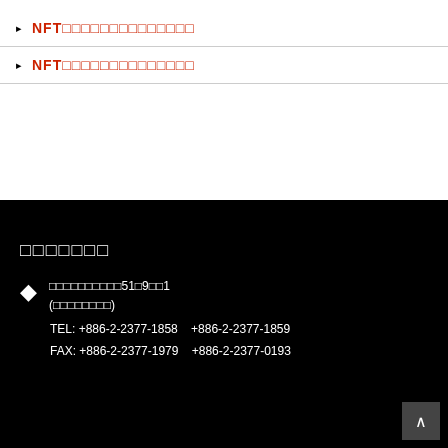NFT□□□□□□□□□□□□□□□
NFT□□□□□□□□□□□□□□□
□□□□□□□
□□□□□□□□□□□51□9□□1
(□□□□□□□□)
TEL: +886-2-2377-1858   +886-2-2377-1859
FAX: +886-2-2377-1979   +886-2-2377-0193